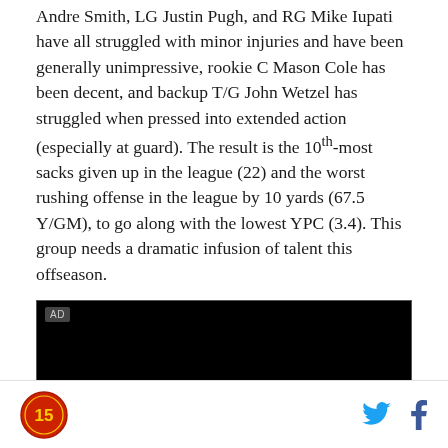Andre Smith, LG Justin Pugh, and RG Mike Iupati have all struggled with minor injuries and have been generally unimpressive, rookie C Mason Cole has been decent, and backup T/G John Wetzel has struggled when pressed into extended action (especially at guard). The result is the 10th-most sacks given up in the league (22) and the worst rushing offense in the league by 10 yards (67.5 Y/GM), to go along with the lowest YPC (3.4). This group needs a dramatic infusion of talent this offseason.
[Figure (other): Advertisement block (AD label, black background)]
Site logo | Twitter icon | Facebook icon